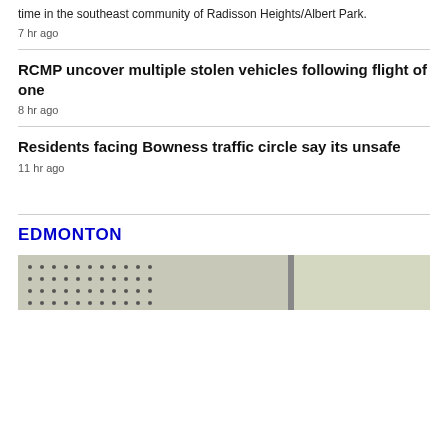time in the southeast community of Radisson Heights/Albert Park.
7 hr ago
RCMP uncover multiple stolen vehicles following flight of one
8 hr ago
Residents facing Bowness traffic circle say its unsafe
11 hr ago
EDMONTON
[Figure (photo): Partial image of a perforated surface on the left and a light-colored background on the right, separated by a vertical bar.]